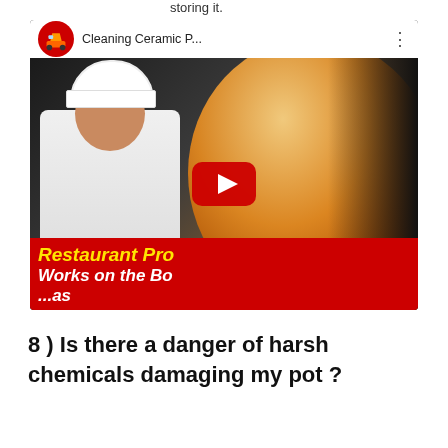storing it.
[Figure (screenshot): YouTube video thumbnail for 'Cleaning Ceramic P...' showing a chef in white uniform and a ceramic pot, with a red YouTube play button in the center. Text overlay reads 'Restaurant Pro', 'Works on the Bo', '...as']
8 ) Is there a danger of harsh chemicals damaging my pot ?